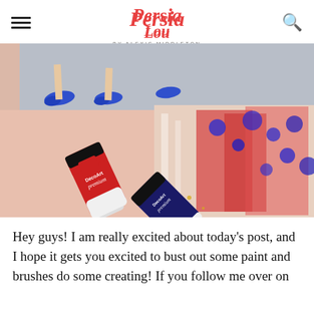Persia Lou by Alexis Middleton
[Figure (photo): Photo showing two tubes of DecoArt Premium acrylic paint (one red, one navy blue) placed on a pink surface next to a colorful abstract painted canvas with red, blue, and white brushstrokes. In the background, a painting of blue shoes/flats is partially visible.]
Hey guys! I am really excited about today’s post, and I hope it gets you excited to bust out some paint and brushes do some creating! If you follow me over on